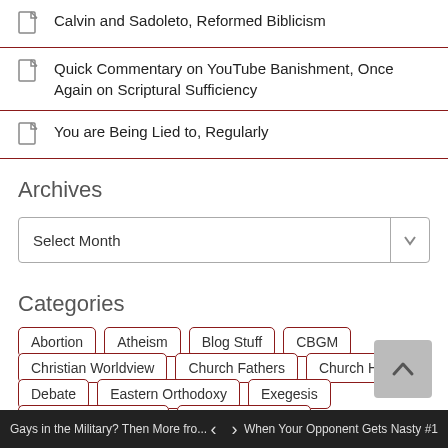Calvin and Sadoleto, Reformed Biblicism
Quick Commentary on YouTube Banishment, Once Again on Scriptural Sufficiency
You are Being Lied to, Regularly
Archives
Select Month
Categories
Abortion
Atheism
Blog Stuff
CBGM
Christian Worldview
Church Fathers
Church History
Debate
Eastern Orthodoxy
Exegesis
General Apologetics
Godly Disciplines
Gospel/Jesus Studies
Homosexuality
Islam
Gays in the Military? Then More fro...   ‹   ›   When Your Opponent Gets Nasty #1